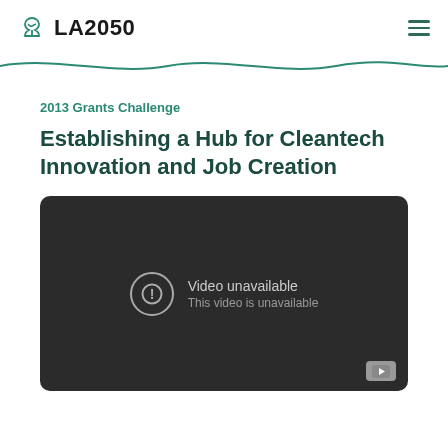LA2050
2013 Grants Challenge
Establishing a Hub for Cleantech Innovation and Job Creation
[Figure (screenshot): Embedded video player showing 'Video unavailable – This video is unavailable' error message on a dark background with YouTube icon in corner.]